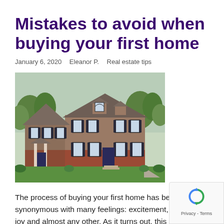Mistakes to avoid when buying your first home
January 6, 2020   Eleanor P.   Real estate tips
[Figure (photo): A large two-story colonial-style house with brown/tan siding and brick base, white-trimmed windows with dark shutters, large front lawn with green grass and landscaping, trees in background.]
The process of buying your first home has become synonymous with many feelings: excitement, awe, fear, joy and almost any other. As it turns out, this is a terrific